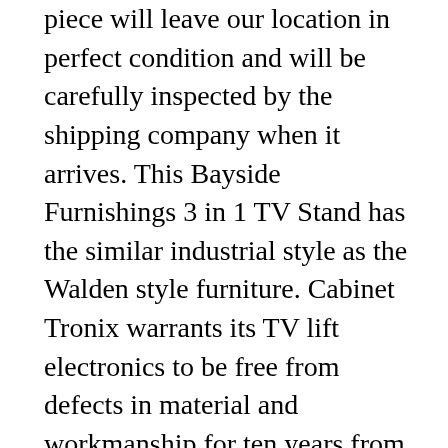piece will leave our location in perfect condition and will be carefully inspected by the shipping company when it arrives. This Bayside Furnishings 3 in 1 TV Stand has the similar industrial style as the Walden style furniture. Cabinet Tronix warrants its TV lift electronics to be free from defects in material and workmanship for ten years from the date of purchase. Finishes you like from our included selections, thoughts on custom or would like piece shipped unfinished. Note: Custom finish matching is available. Designed with industrial elegance and rigid metal, this retro-style TV console stand is suitable for a variety of decoration styles, especially can adorn the room of concise style very well. more like this.